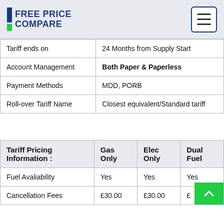FREE PRICE COMPARE
|  |  |
| --- | --- |
| Tariff ends on | 24 Months from Supply Start |
| Account Management | Both Paper & Paperless |
| Payment Methods | MDD, PORB |
| Roll-over Tariff Name | Closest equivalent/Standard tariff |
| Tariff Pricing Information : | Gas Only | Elec Only | Dual Fuel |
| --- | --- | --- | --- |
| Fuel Avaliability | Yes | Yes | Yes |
| Cancellation Fees | £30.00 | £30.00 | £ |